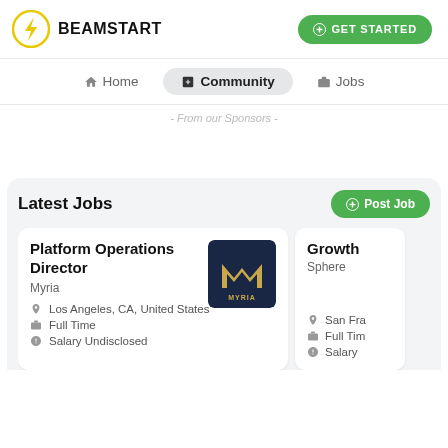[Figure (logo): BEAMSTART logo with yellow lightning bolt icon and bold black text]
GET STARTED
Home  Community  Jobs
- From our Sponsors -
Latest Jobs
Post Job
Platform Operations Director
Myria
Los Angeles, CA, United States
Full Time
Salary Undisclosed
Growth
Sphere
San Fra
Full Tim
Salary